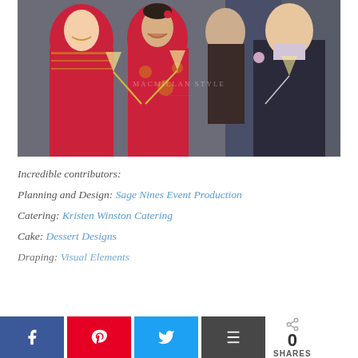[Figure (photo): Wedding reception photo showing people in traditional Chinese red garments and formal wear toasting with champagne glasses. Watermark reads 'MACMILLAN STYLE' in the center.]
Incredible contributors:
Planning and Design: Sage Nines Event Production
Catering: Kristen Winston Catering
Cake: Dessert Designs
Draping: Visual Elements
0 SHARES [Facebook] [Pinterest] [Twitter] [Buffer]